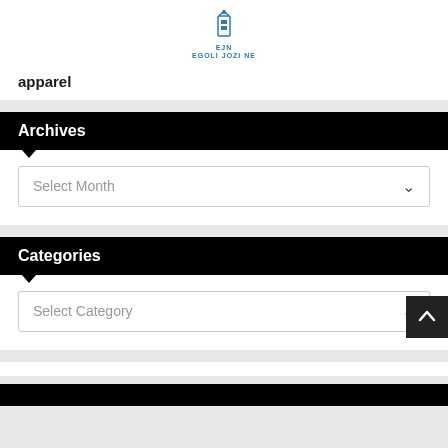EJN EGOLI JOZI NE (logo)
apparel
Archives
Select Month
Categories
Select Category